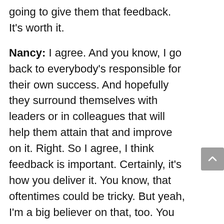going to give them that feedback. It's worth it.
Nancy: I agree. And you know, I go back to everybody's responsible for their own success. And hopefully they surround themselves with leaders or in colleagues that will help them attain that and improve on it. Right. So I agree, I think feedback is important. Certainly, it's how you deliver it. You know, that oftentimes could be tricky. But yeah, I'm a big believer on that, too. You know, we're kind of coming to the end of our program. And I'd like you to share one takeaway, one point that you really want the listeners to leave with?
Dave: Yeah, I think the main thing here is that what matters is what the buyers think. So we're here for our clients, and buyer is going to have a